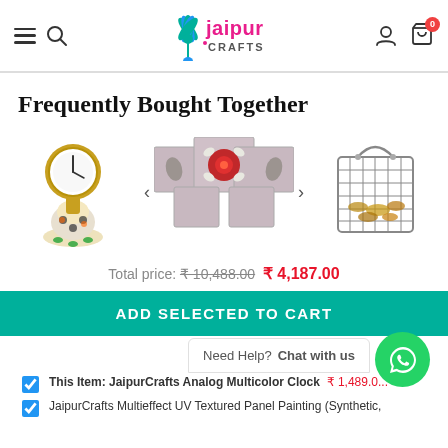[Figure (logo): Jaipur Crafts logo with peacock feather icon and teal/pink text]
Frequently Bought Together
[Figure (photo): Three product images: analog multicolor clock, UV textured panel painting with red flower, wire basket]
Total price: ₹ 10,488.00  ₹ 4,187.00
ADD SELECTED TO CART
Need Help? Chat with us
This Item: JaipurCrafts Analog Multicolor Clock  ₹ 1,489.00
JaipurCrafts Multieffect UV Textured Panel Painting (Synthetic,